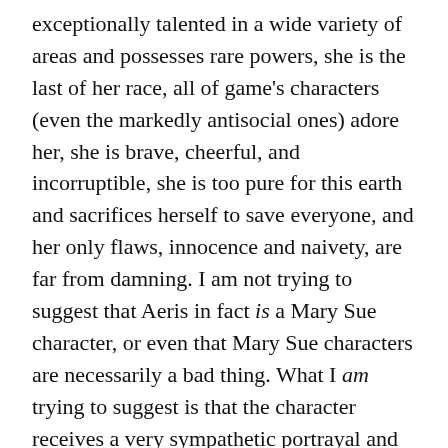exceptionally talented in a wide variety of areas and possesses rare powers, she is the last of her race, all of game's characters (even the markedly antisocial ones) adore her, she is brave, cheerful, and incorruptible, she is too pure for this earth and sacrifices herself to save everyone, and her only flaws, innocence and naivety, are far from damning. I am not trying to suggest that Aeris in fact is a Mary Sue character, or even that Mary Sue characters are necessarily a bad thing. What I am trying to suggest is that the character receives a very sympathetic portrayal and occasionally seems to good to be true.
No matter how close Aeris comes to a Mary Sue, her more complex traits surface during